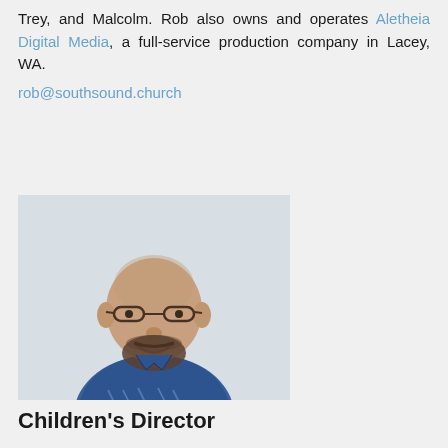Trey, and Malcolm. Rob also owns and operates Aletheia Digital Media, a full-service production company in Lacey, WA.
rob@southsound.church
[Figure (photo): Headshot of a bald man with glasses and a beard, smiling, wearing a blue plaid shirt, against a light grey background.]
Children's Director